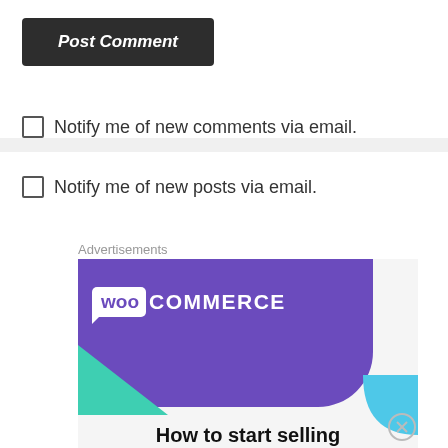[Figure (screenshot): Post Comment button — dark gray rounded rectangle with italic bold white text 'Post Comment']
Notify me of new comments via email.
Notify me of new posts via email.
Advertisements
[Figure (screenshot): WooCommerce advertisement banner showing purple background with WooCommerce logo (woo in white speech bubble + COMMERCE in white text), teal triangle bottom-left, light blue arc bottom-right, text 'How to start selling' in bold black below]
Advertisements